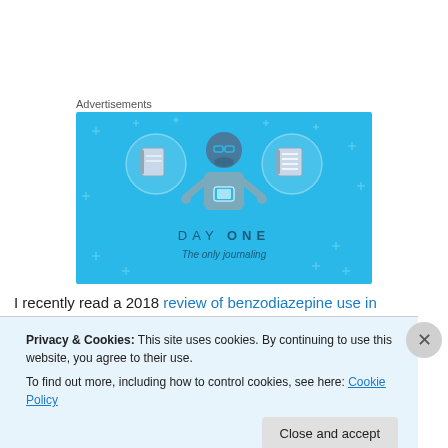Advertisements
[Figure (illustration): DAY ONE journaling app advertisement with light blue background, showing a cartoon figure holding a phone flanked by two circular icons containing a blank notebook and a lined notebook. Text reads 'DAY ONE' and 'The only journaling']
I recently read a 2018 review of benzodiazepine use in
Privacy & Cookies: This site uses cookies. By continuing to use this website, you agree to their use.
To find out more, including how to control cookies, see here: Cookie Policy
Close and accept